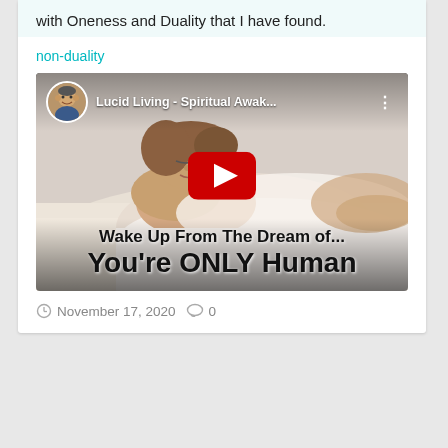with Oneness and Duality that I have found.
non-duality
[Figure (screenshot): YouTube video thumbnail showing a sleeping woman lying on white bedding. Video title reads 'Lucid Living - Spiritual Awak...' with a channel avatar (man's face) and YouTube play button. Text overlay reads 'Wake Up From The Dream of... You're ONLY Human']
November 17, 2020  0